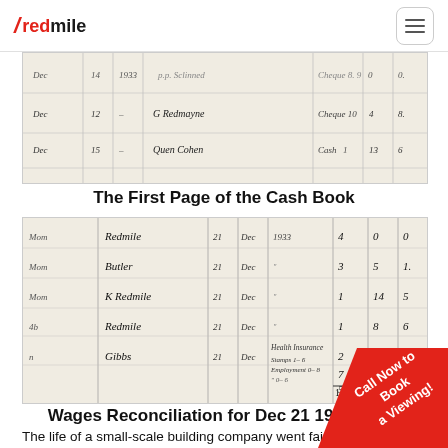redmile
[Figure (photo): Handwritten cash book ledger page showing entries for Dec with names Redmayne and Cohn, with amounts in columns]
The First Page of the Cash Book
[Figure (photo): Handwritten wages reconciliation ledger for Dec 21 1933 showing names Redmile, Butler, K Redmile, Redmile, Gibbs with amounts and Health Insurance stamps breakdown, totaling 13 10 2]
Wages Reconciliation for Dec 21 1933
The life of a small-scale building company went fairly smooth... Bill married Madge Ward (1914-2006) in 1939 and moved... their new house which the company had built in Dobc... William, Annie and Curtis moved next door when th...